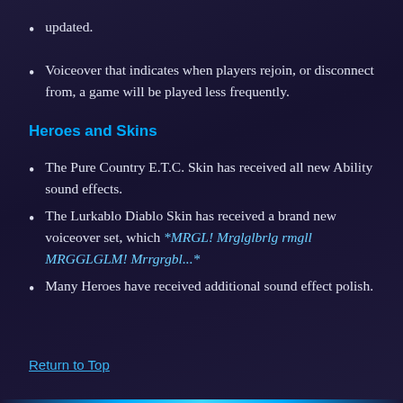updated.
Voiceover that indicates when players rejoin, or disconnect from, a game will be played less frequently.
Heroes and Skins
The Pure Country E.T.C. Skin has received all new Ability sound effects.
The Lurkablo Diablo Skin has received a brand new voiceover set, which *MRGL! Mrglglbrlg rmgll MRGGLGLM! Mrrgrgbl...*
Many Heroes have received additional sound effect polish.
Return to Top